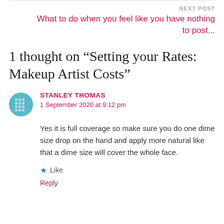NEXT POST
What to do when you feel like you have nothing to post...
1 thought on “Setting your Rates: Makeup Artist Costs”
STANLEY THOMAS
1 September 2020 at 9:12 pm
Yes it is full coverage so make sure you do one dime size drop on the hand and apply more natural like that a dime size will cover the whole face.
Like
Reply